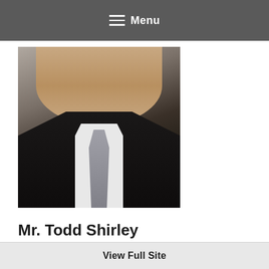Menu
[Figure (photo): Professional headshot of Mr. Todd Shirley wearing a black suit, white shirt, and gray tie, smiling, against a gray background]
Mr. Todd Shirley
Prosper ISD is dedicated to providing a high quality education to our students that prepares them for an
View Full Site